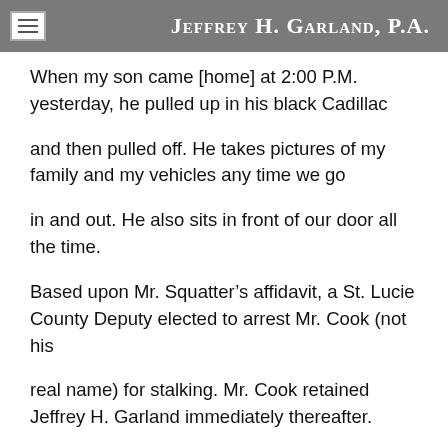Jeffrey H. Garland, P.A.
When my son came [home] at 2:00 P.M. yesterday, he pulled up in his black Cadillac
and then pulled off. He takes pictures of my family and my vehicles any time we go
in and out. He also sits in front of our door all the time.
Based upon Mr. Squatter’s affidavit, a St. Lucie County Deputy elected to arrest Mr. Cook (not his
real name) for stalking. Mr. Cook retained Jeffrey H. Garland immediately thereafter.
Mr. Garland quickly sent out a public records request for 911 records. The 911 record from 9/25/13